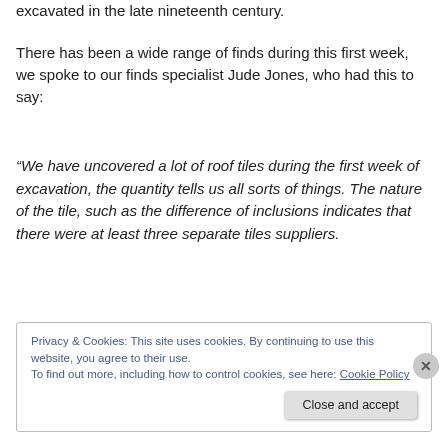excavated in the late nineteenth century.
There has been a wide range of finds during this first week, we spoke to our finds specialist Jude Jones, who had this to say:
“We have uncovered a lot of roof tiles during the first week of excavation, the quantity tells us all sorts of things. The nature of the tile, such as the difference of inclusions indicates that there were at least three separate tiles suppliers.
Privacy & Cookies: This site uses cookies. By continuing to use this website, you agree to their use.
To find out more, including how to control cookies, see here: Cookie Policy